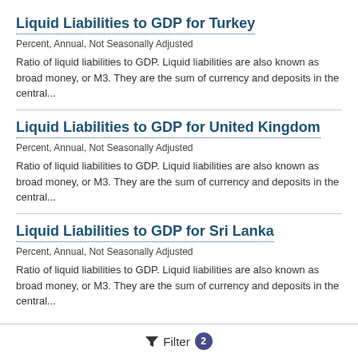Liquid Liabilities to GDP for Turkey
Percent, Annual, Not Seasonally Adjusted
Ratio of liquid liabilities to GDP. Liquid liabilities are also known as broad money, or M3. They are the sum of currency and deposits in the central...
Liquid Liabilities to GDP for United Kingdom
Percent, Annual, Not Seasonally Adjusted
Ratio of liquid liabilities to GDP. Liquid liabilities are also known as broad money, or M3. They are the sum of currency and deposits in the central...
Liquid Liabilities to GDP for Sri Lanka
Percent, Annual, Not Seasonally Adjusted
Ratio of liquid liabilities to GDP. Liquid liabilities are also known as broad money, or M3. They are the sum of currency and deposits in the central...
Filter 2